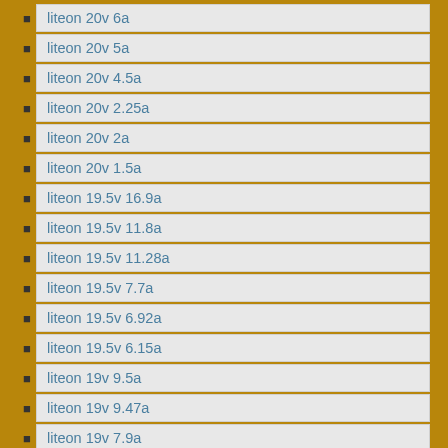liteon 20v 6a
liteon 20v 5a
liteon 20v 4.5a
liteon 20v 2.25a
liteon 20v 2a
liteon 20v 1.5a
liteon 19.5v 16.9a
liteon 19.5v 11.8a
liteon 19.5v 11.28a
liteon 19.5v 7.7a
liteon 19.5v 6.92a
liteon 19.5v 6.15a
liteon 19v 9.5a
liteon 19v 9.47a
liteon 19v 7.9a
liteon 19v 7.11a
liteon 19v 7.1a